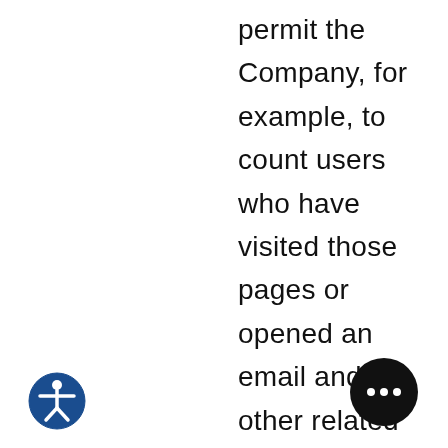permit the Company, for example, to count users who have visited those pages or opened an email and for other related website statistics (for example,
[Figure (illustration): Accessibility icon: a circular dark blue button with a white human figure (person with arms outstretched) in the center]
[Figure (other): Dark circular button with three white dots (more/ellipsis button)]